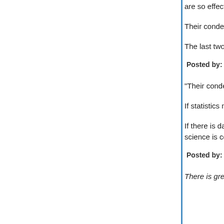are so effectively disproved.
Their condemnation by statistics matters little to m... science is actually science.
The last two elections Avlon references are back ... question the conclusions you reference, I can't sp...
Posted by: CCDG | March 09, 2011 at 11:12 PM
"Their condemnation by statistics matters little to ... political science is actually science."
If statistics means little to you your opinions on wh... matter to anyone.
If there is data supporting the claim that most self... in a partisan way, it doesn't really matter whether ... science is considerably less rigorous than, say, ph...
Posted by: Donald Johnson | March 10, 2011 at 12:06 AM
There is great joy in watching the "40 year majorit... are so effectively disproved.